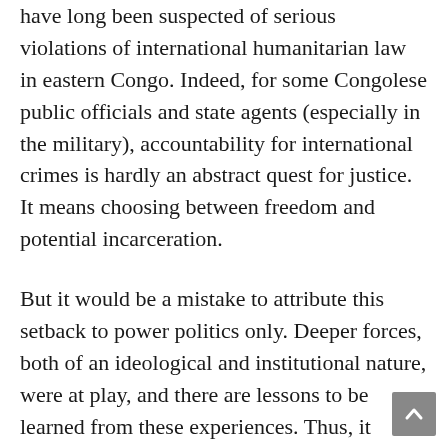have long been suspected of serious violations of international humanitarian law in eastern Congo. Indeed, for some Congolese public officials and state agents (especially in the military), accountability for international crimes is hardly an abstract quest for justice. It means choosing between freedom and potential incarceration.
But it would be a mistake to attribute this setback to power politics only. Deeper forces, both of an ideological and institutional nature, were at play, and there are lessons to be learned from these experiences. Thus, it would seem that greater outreach has to be undertaken to explain the ideas behind international criminal justice. Congolese